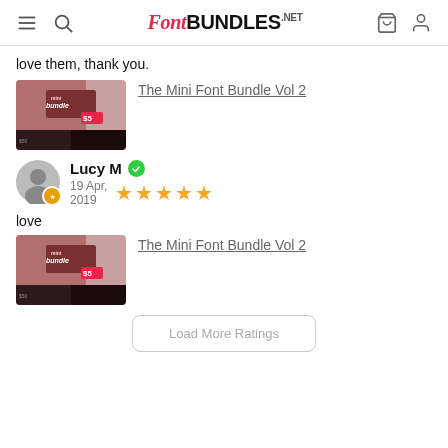FontBundles.net
love them, thank you.
[Figure (screenshot): Product thumbnail for The Mini Font Bundle Vol 2]
The Mini Font Bundle Vol 2
Lucy M · 19 Apr, 2019 · 5 stars · love
[Figure (screenshot): Product thumbnail for The Mini Font Bundle Vol 2]
The Mini Font Bundle Vol 2
Load More Ratings